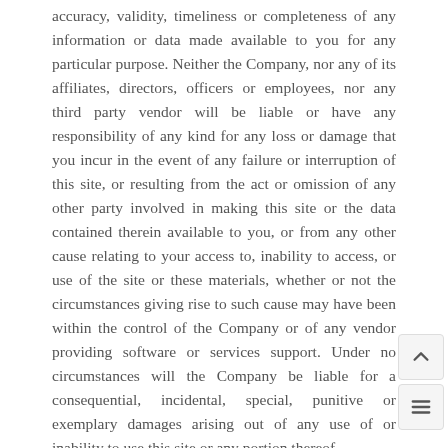accuracy, validity, timeliness or completeness of any information or data made available to you for any particular purpose. Neither the Company, nor any of its affiliates, directors, officers or employees, nor any third party vendor will be liable or have any responsibility of any kind for any loss or damage that you incur in the event of any failure or interruption of this site, or resulting from the act or omission of any other party involved in making this site or the data contained therein available to you, or from any other cause relating to your access to, inability to access, or use of the site or these materials, whether or not the circumstances giving rise to such cause may have been within the control of the Company or of any vendor providing software or services support. Under no circumstances will the Company be liable for a consequential, incidental, special, punitive or exemplary damages arising out of any use of or inability to use this site or any portion thereof,